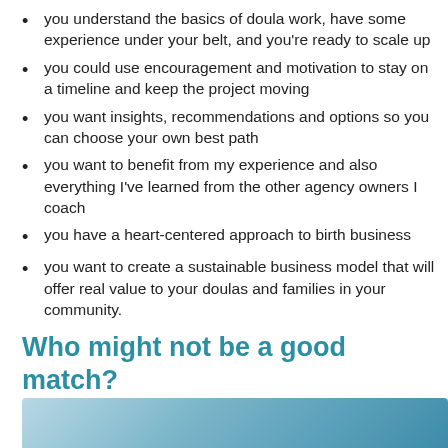you understand the basics of doula work, have some experience under your belt, and you're ready to scale up
you could use encouragement and motivation to stay on a timeline and keep the project moving
you want insights, recommendations and options so you can choose your own best path
you want to benefit from my experience and also everything I've learned from the other agency owners I coach
you have a heart-centered approach to birth business
you want to create a sustainable business model that will offer real value to your doulas and families in your community.
Who might not be a good match?
[Figure (photo): Bottom strip showing a partial photo, likely of a person, with teal/blue tones]